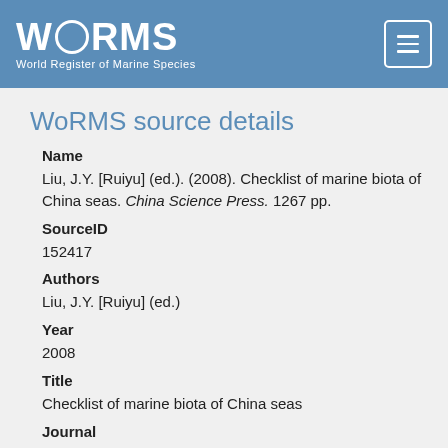WoRMS — World Register of Marine Species
WoRMS source details
Name
Liu, J.Y. [Ruiyu] (ed.). (2008). Checklist of marine biota of China seas. China Science Press. 1267 pp.
SourceID
152417
Authors
Liu, J.Y. [Ruiyu] (ed.)
Year
2008
Title
Checklist of marine biota of China seas
Journal
China Science Press